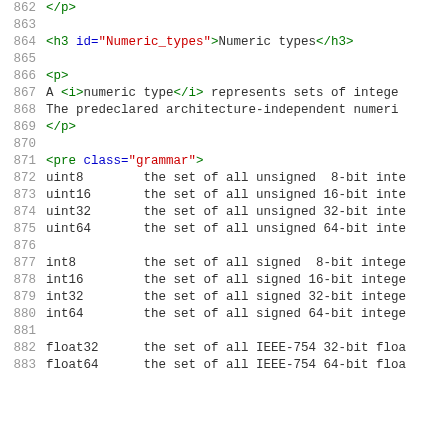862   /p
863
864   <h3 id="Numeric_types">Numeric types</h3>
865
866   <p>
867   A <i>numeric type</i> represents sets of intege
868   The predeclared architecture-independent numeri
869   </p>
870
871   <pre class="grammar">
872   uint8        the set of all unsigned  8-bit inte
873   uint16       the set of all unsigned 16-bit inte
874   uint32       the set of all unsigned 32-bit inte
875   uint64       the set of all unsigned 64-bit inte
876
877   int8         the set of all signed  8-bit intege
878   int16        the set of all signed 16-bit intege
879   int32        the set of all signed 32-bit intege
880   int64        the set of all signed 64-bit intege
881
882   float32      the set of all IEEE-754 32-bit floa
883   float64      the set of all IEEE-754 64-bit floa